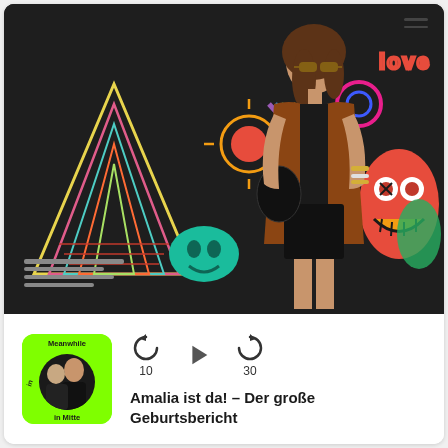[Figure (photo): Fashion photo of a young woman wearing sunglasses, a brown suede vest, black top and black shorts, holding a black bag, standing in front of a colorful street art mural with geometric and cartoon figures on a dark background.]
[Figure (logo): Podcast logo: green rounded square with circular portrait photo of two people (man and woman) and text 'Meanwhile in Mitte' around the circle.]
10
30
Amalia ist da! – Der große Geburtsbericht